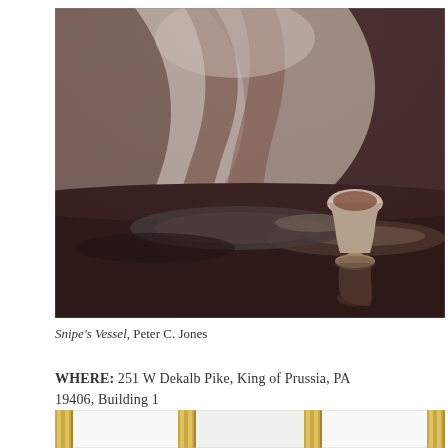[Figure (photo): A still-life photograph showing a small ceramic vessel (chalice-like cup) on a reflective dark surface with draped fabric in the background. The image is in muted, warm tones with dramatic lighting creating shadows.]
Snipe's Vessel, Peter C. Jones
WHERE: 251 W Dekalb Pike, King of Prussia, PA 19406, Building 1
[Figure (photo): Partial bottom photo showing what appears to be gold/brass vertical bars or columns against a white/light background, cropped at the bottom of the page.]